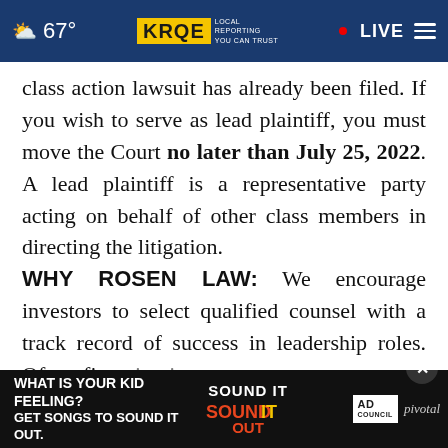67° KRQE LOCAL REPORTING YOU CAN TRUST • LIVE
class action lawsuit has already been filed. If you wish to serve as lead plaintiff, you must move the Court no later than July 25, 2022. A lead plaintiff is a representative party acting on behalf of other class members in directing the litigation.
WHY ROSEN LAW: We encourage investors to select qualified counsel with a track record of success in leadership roles. Often, firms issuing notices of class action lawsuits have no experience,
[Figure (screenshot): Advertisement overlay at bottom: 'WHAT IS YOUR KID FEELING? GET SONGS TO SOUND IT OUT.' with Sound It Out branding, Ad Council logo, and pivotal logo. Close button (×) visible.]